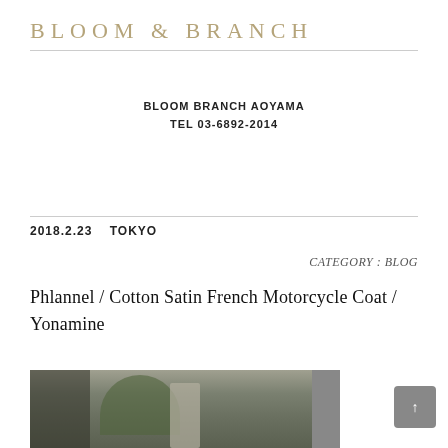BLOOM & BRANCH
BLOOM BRANCH AOYAMA
TEL 03-6892-2014
2018.2.23    TOKYO
CATEGORY : BLOG
Phlannel / Cotton Satin French Motorcycle Coat / Yonamine
[Figure (photo): Outdoor photo of a person standing in front of a building with trees in the background]